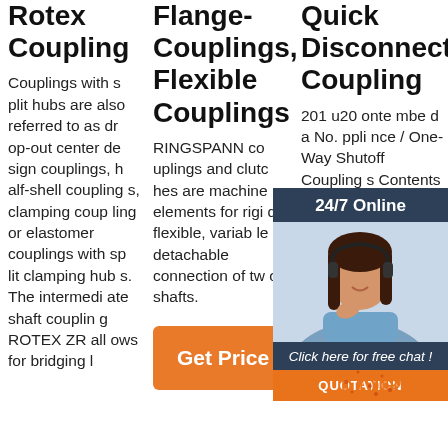Rotex Coupling
Couplings with split hubs are also referred to as drop-out center design couplings, half-shell couplings, clamping couplings or elastomer couplings with split clamping hubs. The intermediate shaft coupling ROTEX ZR allows for bridging l
Flange-Couplings, Flexible Couplings
RINGSPANN couplings and clutches are machine elements for rigid, flexible, variable or detachable connection of two shafts.
[Figure (other): Orange 'Get Price' button]
Quick Disconnect Coupling
201 u20 onte mbe d a No. ppli nce / One-Way Shutoff Couplings Contents and Selection Chart 6 One-Way Plug
[Figure (other): 24/7 Online chat widget with photo of woman wearing headset. Includes 'Click here for free chat!' text and orange QUOTATION button.]
[Figure (logo): TOP logo in orange dots/circles at bottom right]